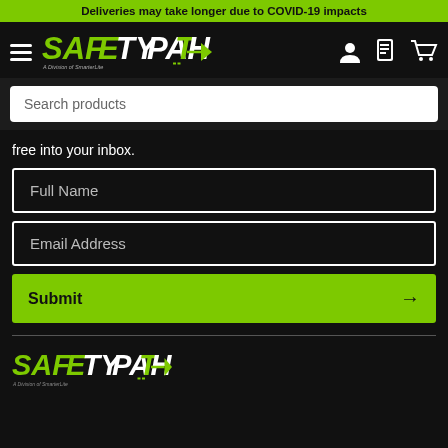Deliveries may take longer due to COVID-19 impacts
[Figure (logo): Safety Path logo - A Division of SmarterLite, with hamburger menu and nav icons]
[Figure (screenshot): Search products input bar]
free into your inbox.
[Figure (screenshot): Full Name input field]
[Figure (screenshot): Email Address input field]
[Figure (screenshot): Submit button with arrow]
[Figure (logo): Safety Path logo footer - A Division of SmarterLite]